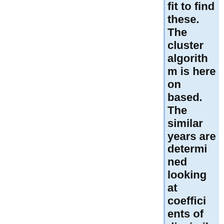fit to find these. The cluster algorithm is here on based. The similar years are determined looking at coefficients of dissimilarity